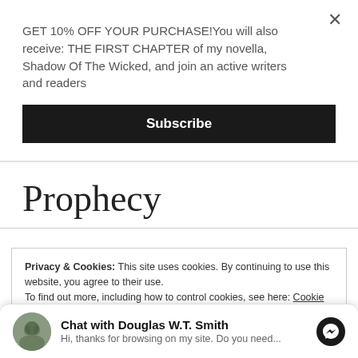GET 10% OFF YOUR PURCHASE!You will also receive: THE FIRST CHAPTER of my novella, Shadow Of The Wicked, and join an active writers and readers
Subscribe
Prophecy
Privacy & Cookies: This site uses cookies. By continuing to use this website, you agree to their use.
To find out more, including how to control cookies, see here: Cookie Policy
Close and accept
Chat with Douglas W.T. Smith
Hi, thanks for browsing on my site. Do you need...